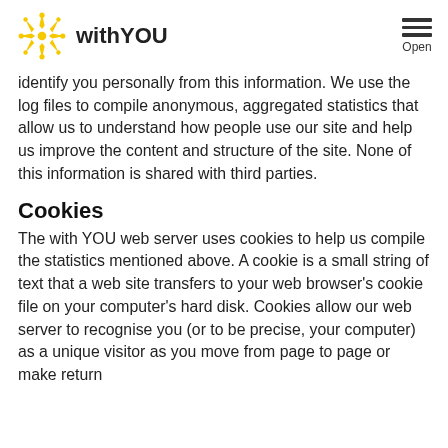withYOU — Open menu
identify you personally from this information. We use the log files to compile anonymous, aggregated statistics that allow us to understand how people use our site and help us improve the content and structure of the site. None of this information is shared with third parties.
Cookies
The with YOU web server uses cookies to help us compile the statistics mentioned above. A cookie is a small string of text that a web site transfers to your web browser's cookie file on your computer's hard disk. Cookies allow our web server to recognise you (or to be precise, your computer) as a unique visitor as you move from page to page or make return